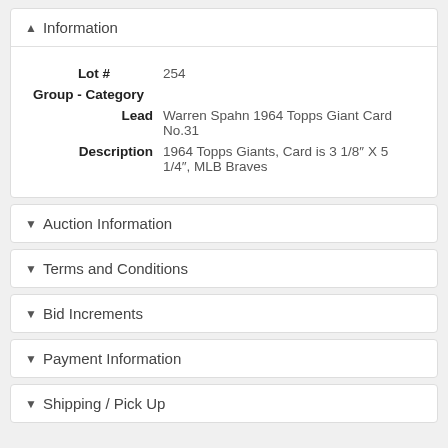▲ Information
| Lot # | 254 |
| Group - Category |  |
| Lead | Warren Spahn 1964 Topps Giant Card No.31 |
| Description | 1964 Topps Giants, Card is 3 1/8″ X 5 1/4″, MLB Braves |
▼ Auction Information
▼ Terms and Conditions
▼ Bid Increments
▼ Payment Information
▼ Shipping / Pick Up